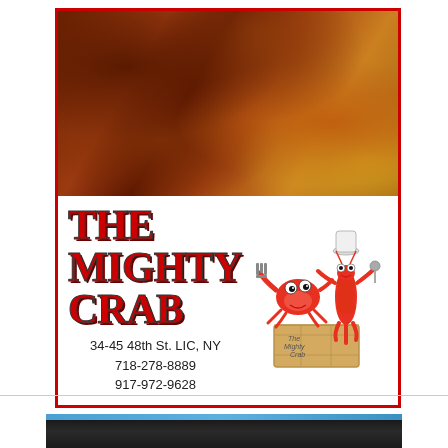[Figure (photo): Close-up photo of seasoned crab claws and corn on the cob with Cajun/Old Bay spice seasoning]
THE MIGHTY CRAB
[Figure (illustration): Cartoon mascots: a red crab holding a fork and a red lobster wearing a chef's hat holding a spoon, both standing on a wooden crate labeled 'The Mighty Crab']
34-45 48th St. LIC, NY
718-278-8889
917-972-9628